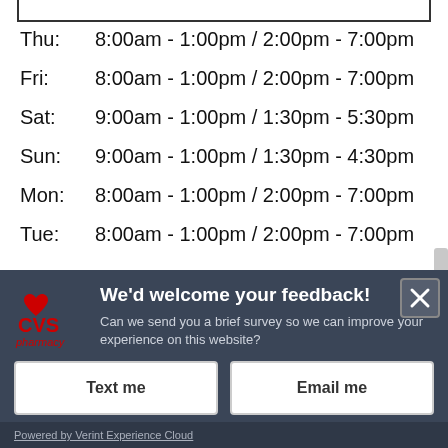Thu: 8:00am - 1:00pm / 2:00pm - 7:00pm
Fri: 8:00am - 1:00pm / 2:00pm - 7:00pm
Sat: 9:00am - 1:00pm / 1:30pm - 5:30pm
Sun: 9:00am - 1:00pm / 1:30pm - 4:30pm
Mon: 8:00am - 1:00pm / 2:00pm - 7:00pm
Tue: 8:00am - 1:00pm / 2:00pm - 7:00pm
[Figure (screenshot): CVS Pharmacy feedback survey modal overlay with dark blue-grey background. Contains CVS Pharmacy logo (red heart + CVS text), heading 'We'd welcome your feedback!', subtext 'Can we send you a brief survey so we can improve your experience on this website?', two white buttons labeled 'Text me' and 'Email me', a close X button top-right, and footer 'Powered by Verint Experience Cloud'.]